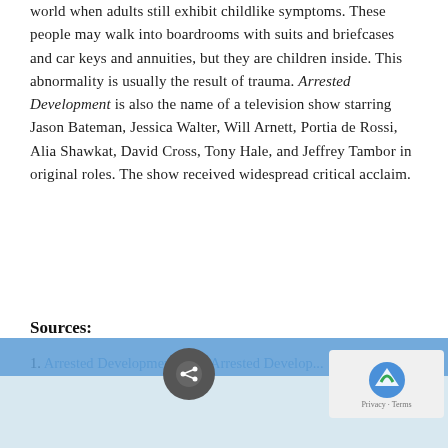world when adults still exhibit childlike symptoms. These people may walk into boardrooms with suits and briefcases and car keys and annuities, but they are children inside. This abnormality is usually the result of trauma. Arrested Development is also the name of a television show starring Jason Bateman, Jessica Walter, Will Arnett, Portia de Rossi, Alia Shawkat, David Cross, Tony Hale, and Jeffrey Tambor in original roles. The show received widespread critical acclaim.
Sources:
1. Arrested Development Wiki Arrested Develop...